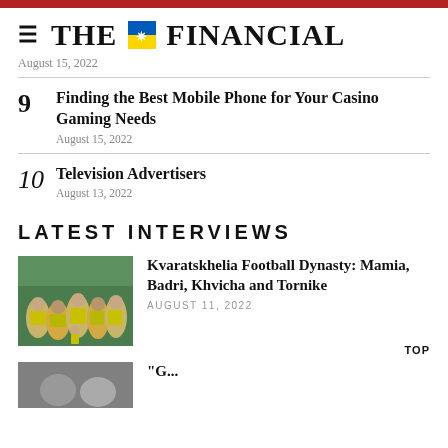THE FINANCIAL
August 15, 2022
9 Finding the Best Mobile Phone for Your Casino Gaming Needs
August 15, 2022
10 Television Advertisers
August 13, 2022
LATEST INTERVIEWS
[Figure (photo): Group of young football players in yellow and green uniforms]
Kvaratskhelia Football Dynasty: Mamia, Badri, Khvicha and Tornike
AUGUST 11, 2022
[Figure (photo): Partial view of another interview article image at bottom of page]